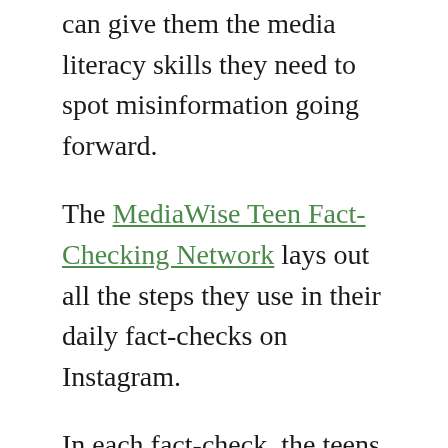can give them the media literacy skills they need to spot misinformation going forward.
The MediaWise Teen Fact-Checking Network lays out all the steps they use in their daily fact-checks on Instagram.
In each fact-check, the teens walk through where they saw the claim and what tools they used to determine its legitimacy. Sometimes this is as simple as showing a keyword search or a reverse image